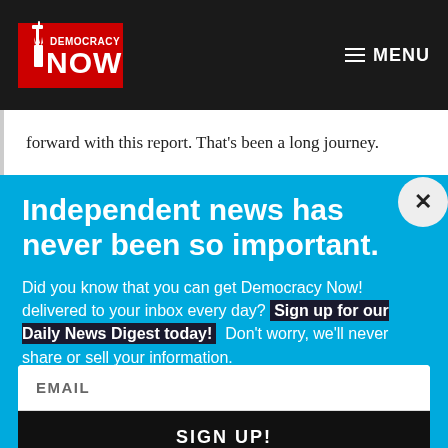Democracy Now! — MENU
forward with this report. That's been a long journey.
Independent news has never been so important.
Did you know that you can get Democracy Now! delivered to your inbox every day? Sign up for our Daily News Digest today! Don't worry, we'll never share or sell your information.
EMAIL
SIGN UP!